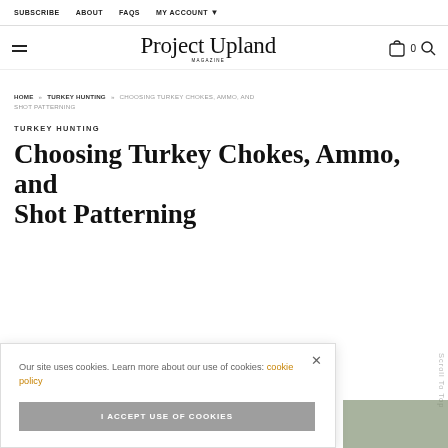SUBSCRIBE   ABOUT   FAQS   MY ACCOUNT
Project Upland MAGAZINE
HOME » TURKEY HUNTING » CHOOSING TURKEY CHOKES, AMMO, AND SHOT PATTERNING
TURKEY HUNTING
Choosing Turkey Chokes, Ammo, and Shot Patterning
Our site uses cookies. Learn more about our use of cookies: cookie policy
I ACCEPT USE OF COOKIES